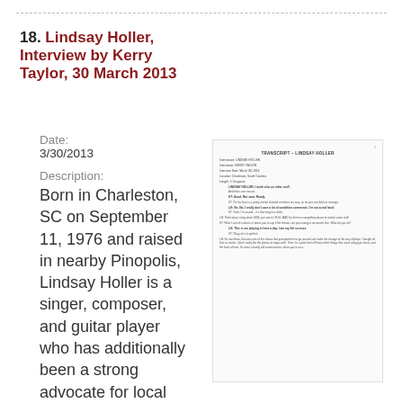18. Lindsay Holler, Interview by Kerry Taylor, 30 March 2013
Date:
3/30/2013
Description:
Born in Charleston, SC on September 11, 1976 and raised in nearby Pinopolis, Lindsay Holler is a singer, composer, and guitar player who has additionally been a strong advocate for local
[Figure (other): Thumbnail image of a transcript document titled TRANSCRIPT - LINDSAY HOLLER with interview details and partial conversation text]